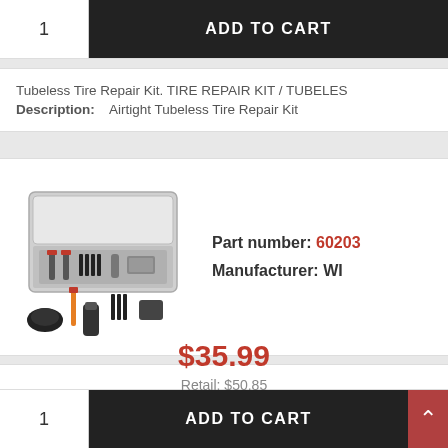1
ADD TO CART
Tubeless Tire Repair Kit. TIRE REPAIR KIT / TUBELES
Description:    Airtight Tubeless Tire Repair Kit
[Figure (photo): A tubeless tire repair kit in an open plastic case with tools including plugs, a reamer tool, an insertion tool, and additional accessories spread around the case.]
Part number: 60203
Manufacturer: WI
$35.99
Retail: $50.85
In stock at Orchards
1
ADD TO CART